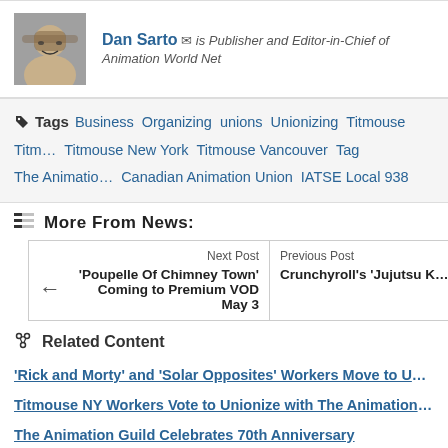Dan Sarto [email] is Publisher and Editor-in-Chief of Animation World Net...
Tags: Business  Organizing  unions  Unionizing  Titmouse  Titm... Titmouse New York  Titmouse Vancouver  Tag  The Animatio... Canadian Animation Union  IATSE Local 938
More From News:
| Next Post | Previous Post |
| --- | --- |
| 'Poupelle Of Chimney Town' Coming to Premium VOD May 3 | Crunchyroll's 'Jujutsu K... |
Related Content
‘Rick and Morty’ and ‘Solar Opposites’ Workers Move to Unioniz...
Titmouse NY Workers Vote to Unionize with The Animation Gui...
The Animation Guild Celebrates 70th Anniversary
Animation Guild Donates $210,000 to Aid Union Members...